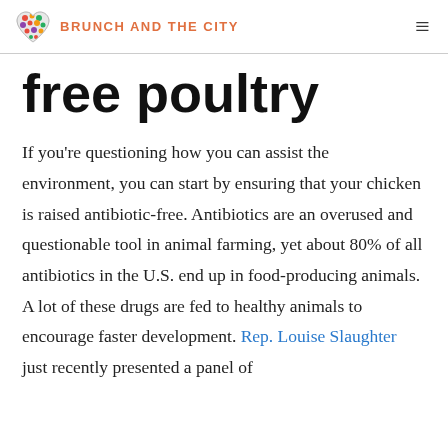BRUNCH AND THE CITY
free poultry
If you're questioning how you can assist the environment, you can start by ensuring that your chicken is raised antibiotic-free. Antibiotics are an overused and questionable tool in animal farming, yet about 80% of all antibiotics in the U.S. end up in food-producing animals. A lot of these drugs are fed to healthy animals to encourage faster development. Rep. Louise Slaughter just recently presented a panel of